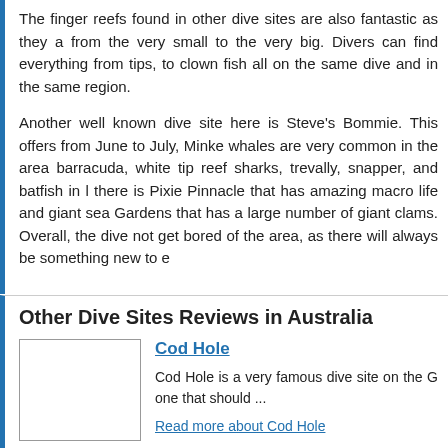The finger reefs found in other dive sites are also fantastic as they a... from the very small to the very big. Divers can find everything from tips, to clown fish all on the same dive and in the same region.
Another well known dive site here is Steve's Bommie. This offers from June to July, Minke whales are very common in the area barracuda, white tip reef sharks, trevally, snapper, and batfish in l there is Pixie Pinnacle that has amazing macro life and giant sea Gardens that has a large number of giant clams. Overall, the dive not get bored of the area, as there will always be something new to e
Other Dive Sites Reviews in Australia
Cod Hole
Cod Hole is a very famous dive site on the G one that should ...
Read more about Cod Hole